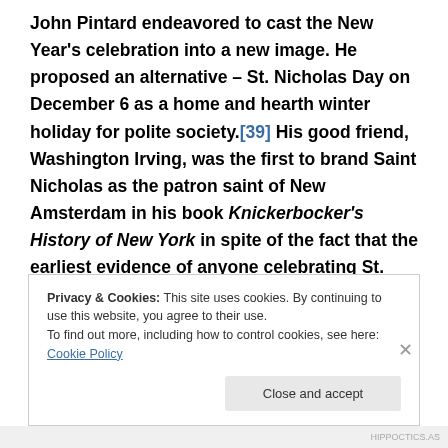John Pintard endeavored to cast the New Year's celebration into a new image. He proposed an alternative – St. Nicholas Day on December 6 as a home and hearth winter holiday for polite society.[39] His good friend, Washington Irving, was the first to brand Saint Nicholas as the patron saint of New Amsterdam in his book Knickerbocker's History of New York in spite of the fact that the earliest evidence of anyone celebrating St. Nicholas Day in Manhattan dated back only thirty-three-years to 1773.[40] Irving described Saint Nicholas as a jolly old Dutchman named
Privacy & Cookies: This site uses cookies. By continuing to use this website, you agree to their use. To find out more, including how to control cookies, see here: Cookie Policy